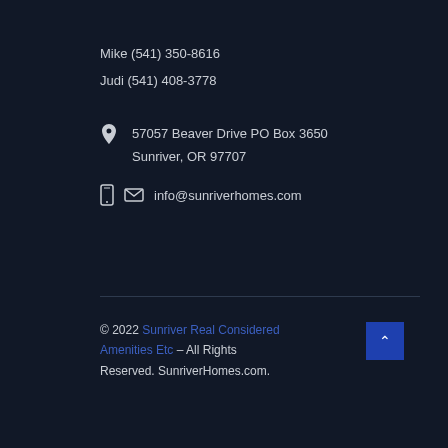Mike (541) 350-8616
Judi (541) 408-3778
57057 Beaver Drive PO Box 3650
Sunriver, OR 97707
info@sunriverhomes.com
© 2022 Sunriver Real Considered Amenities Etc - All Rights Reserved. SunriverHomes.com.